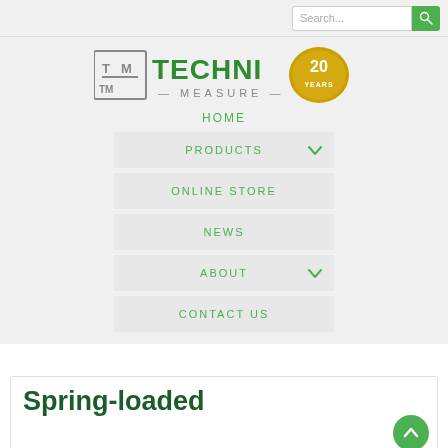Search...
[Figure (logo): Techni Measure logo with TM icon and 20 years badge]
HOME
PRODUCTS
ONLINE STORE
NEWS
ABOUT
CONTACT US
Spring-loaded